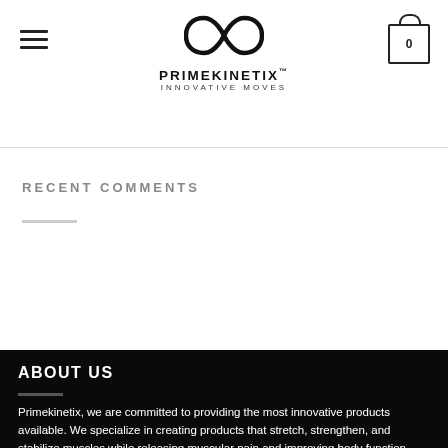PRIMEKINETIX™ INNOVATIVE MOVES
RECENT COMMENTS
ABOUT US
Primekinetix, we are committed to providing the most innovative products available. We specialize in creating products that stretch, strengthen, and stabilize muscles while releasing muscular pain and improving body function.